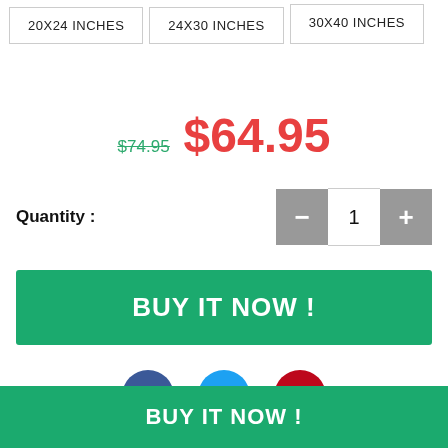20X24 INCHES
24X30 INCHES
30X40 INCHES
$74.95  $64.95
Quantity : 1
BUY IT NOW !
[Figure (other): Social sharing icons: Facebook (blue circle with f), Twitter (light blue circle with bird), Pinterest (red circle with P)]
BUY IT NOW !